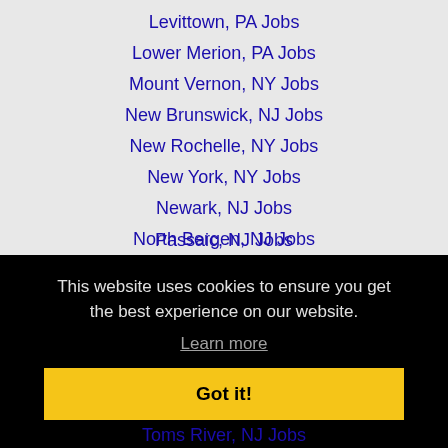Levittown, PA Jobs
Lower Merion, PA Jobs
Mount Vernon, NY Jobs
New Brunswick, NJ Jobs
New Rochelle, NY Jobs
New York, NY Jobs
Newark, NJ Jobs
North Bergen, NJ Jobs
Parsippany-Troy Hills Township, NJ Jobs
Passaic, NJ Jobs
This website uses cookies to ensure you get the best experience on our website. Learn more
Got it!
Toms River, NJ Jobs